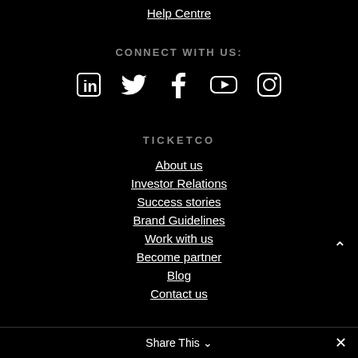Help Centre
CONNECT WITH US:
[Figure (illustration): Social media icons: LinkedIn, Twitter, Facebook, YouTube, Instagram]
TICKETCO
About us
Investor Relations
Success stories
Brand Guidelines
Work with us
Become partner
Blog
Contact us
Share This